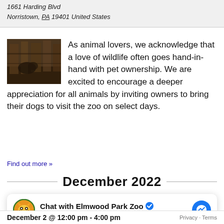1661 Harding Blvd
Norristown, PA 19401 United States
[Figure (photo): A photo of animals in an indoor zoo or pet setting, showing dark brown tones and enclosure structures.]
As animal lovers, we acknowledge that a love of wildlife often goes hand-in-hand with pet ownership. We are excited to encourage a deeper appreciation for all animals by inviting owners to bring their dogs to visit the zoo on select days.
Find out more »
December 2022
Chat with Elmwood Park Zoo
Hi! How can we help you?
December 2 @ 12:00 pm - 4:00 pm